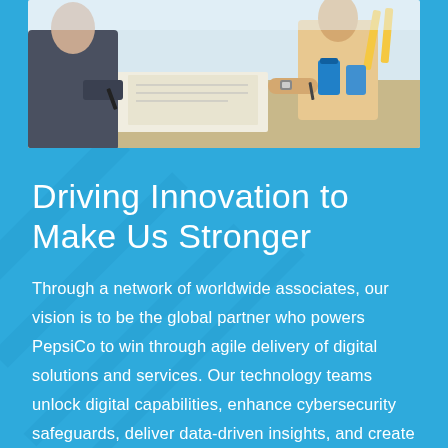[Figure (photo): People working together at a table, hands visible writing and collaborating on documents, with items like pens, papers, and drinks on the table.]
Driving Innovation to Make Us Stronger
Through a network of worldwide associates, our vision is to be the global partner who powers PepsiCo to win through agile delivery of digital solutions and services. Our technology teams unlock digital capabilities, enhance cybersecurity safeguards, deliver data-driven insights, and create unmatched consumer and customer experiences. We're committed to building centralized IT platforms